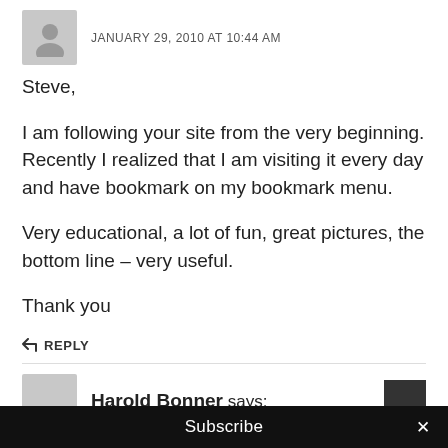JANUARY 29, 2010 AT 10:44 AM
Steve,
I am following your site from the very beginning. Recently I realized that I am visiting it every day and have bookmark on my bookmark menu.
Very educational, a lot of fun, great pictures, the bottom line – very useful.
Thank you
↩ REPLY
Harold Bonner says:
Subscribe ×